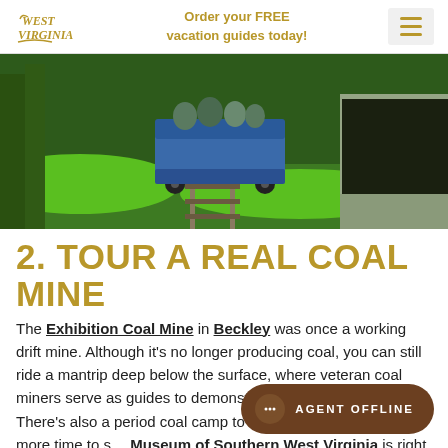West Virginia | Order your FREE vacation guides today!
[Figure (photo): People riding a blue mine cart on tracks entering a tunnel, surrounded by green grass and trees.]
2. TOUR A REAL COAL MINE
The Exhibition Coal Mine in Beckley was once a working drift mine. Although it's no longer producing coal, you can still ride a mantrip deep below the surface, where veteran coal miners serve as guides to demonstrate how coal was mined. There's also a period coal camp to explore and, if you have more time to s… Museum of Southern West Virginia is right next